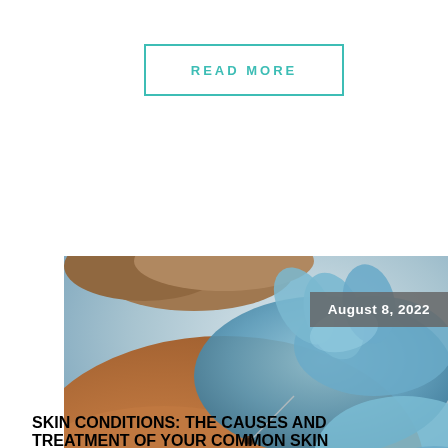READ MORE
[Figure (photo): Close-up photograph of a medical professional wearing blue latex gloves examining or treating a skin lesion/mole on a patient's neck/shoulder area. A date badge reads 'August 8, 2022' in the upper right corner of the photo.]
August 8, 2022
SKIN CONDITIONS: THE CAUSES AND TREATMENT OF YOUR COMMON SKIN PROBLEMS